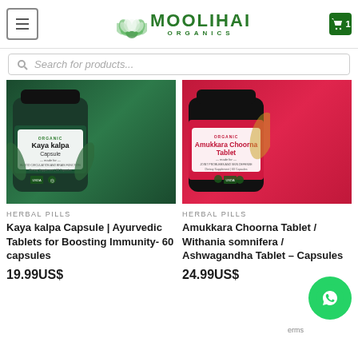MOOLIHAI ORGANICS
Search for products...
[Figure (photo): Moolihai Organics Kaya kalpa Capsule product bottle - dark green label, organic dietary supplement, 60 capsules]
[Figure (photo): Moolihai Organics Amukkara Choorna Tablet product bottle - red/pink label, organic dietary supplement, 60 capsules]
HERBAL PILLS
Kaya kalpa Capsule | Ayurvedic Tablets for Boosting Immunity- 60 capsules
19.99US$
HERBAL PILLS
Amukkara Choorna Tablet / Withania somnifera / Ashwagandha Tablet – Capsules
24.99US$